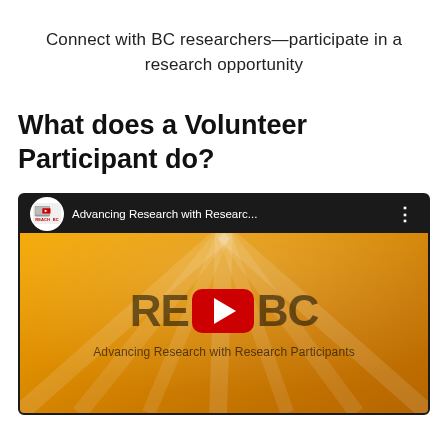Connect with BC researchers—participate in a research opportunity
What does a Volunteer Participant do?
[Figure (screenshot): YouTube video thumbnail for REACHBC showing 'Advancing Research with Researc...' video. Orange/gold background with light ray streaks, REACHBC logo with YouTube play button in center, tagline 'Advancing Research with Research Participants' at bottom.]